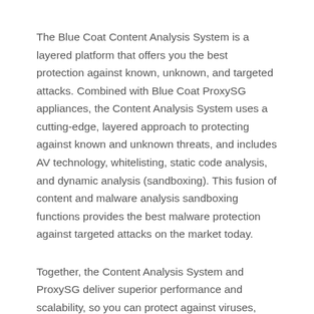The Blue Coat Content Analysis System is a layered platform that offers you the best protection against known, unknown, and targeted attacks. Combined with Blue Coat ProxySG appliances, the Content Analysis System uses a cutting-edge, layered approach to protecting against known and unknown threats, and includes AV technology, whitelisting, static code analysis, and dynamic analysis (sandboxing). This fusion of content and malware analysis sandboxing functions provides the best malware protection against targeted attacks on the market today.
Together, the Content Analysis System and ProxySG deliver superior performance and scalability, so you can protect against viruses, Trojans, worms, spyware, and other forms of malicious content – even when